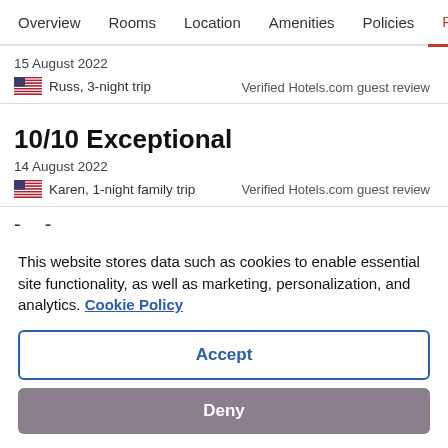Overview  Rooms  Location  Amenities  Policies  Reviews
15 August 2022
Russ, 3-night trip
Verified Hotels.com guest review
10/10 Exceptional
14 August 2022
Karen, 1-night family trip
Verified Hotels.com guest review
- -
This website stores data such as cookies to enable essential site functionality, as well as marketing, personalization, and analytics. Cookie Policy
Accept
Deny